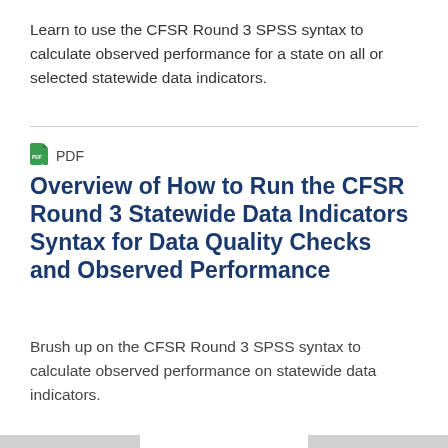Learn to use the CFSR Round 3 SPSS syntax to calculate observed performance for a state on all or selected statewide data indicators.
[Figure (other): Green PDF file icon]
PDF
Overview of How to Run the CFSR Round 3 Statewide Data Indicators Syntax for Data Quality Checks and Observed Performance
Brush up on the CFSR Round 3 SPSS syntax to calculate observed performance on statewide data indicators.